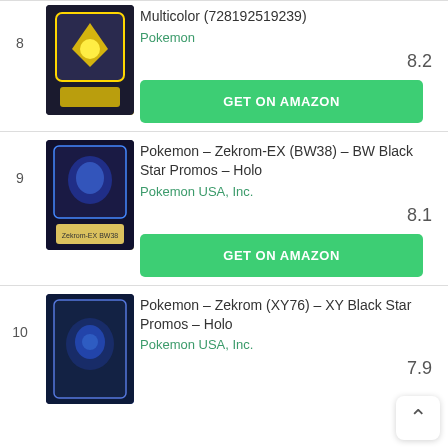8
[Figure (photo): Pokemon battle arena deck product box with yellow and black design]
Multicolor (728192519239)
Pokemon
8.2
GET ON AMAZON
9
[Figure (photo): Pokemon Zekrom-EX BW38 BW Black Star Promos Holo card with dark background and yellow bottom]
Pokemon – Zekrom-EX (BW38) – BW Black Star Promos – Holo
Pokemon USA, Inc.
8.1
GET ON AMAZON
10
[Figure (photo): Pokemon Zekrom XY76 XY Black Star Promos Holo card with dark blue design]
Pokemon – Zekrom (XY76) – XY Black Star Promos – Holo
Pokemon USA, Inc.
7.9